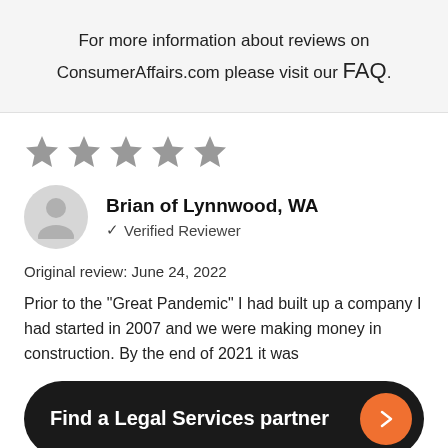For more information about reviews on ConsumerAffairs.com please visit our FAQ.
[Figure (illustration): Five gray star rating icons in a row (all gray, 5 stars)]
Brian of Lynnwood, WA
✓ Verified Reviewer
Original review: June 24, 2022
Prior to the "Great Pandemic" I had built up a company I had started in 2007 and we were making money in construction. By the end of 2021 it was
Find a Legal Services partner
driving up the cost of materials. I was in way over my